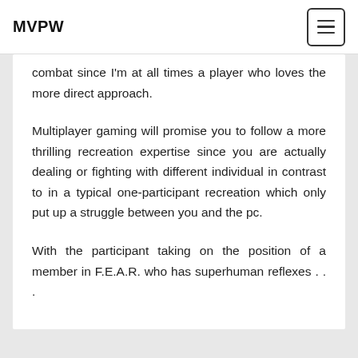MVPW
combat since I'm at all times a player who loves the more direct approach.
Multiplayer gaming will promise you to follow a more thrilling recreation expertise since you are actually dealing or fighting with different individual in contrast to in a typical one-participant recreation which only put up a struggle between you and the pc.
With the participant taking on the position of a member in F.E.A.R. who has superhuman reflexes . . .